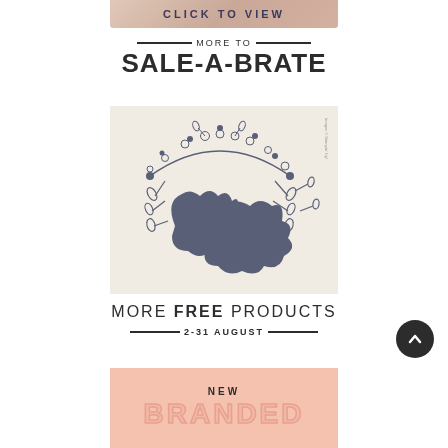[Figure (illustration): Partial banner at top with text 'CLICK TO VIEW' on a decorative background]
MORE TO SALE-A-BRATE
[Figure (photo): Floral die-cut stamp set product image showing botanical flowers and wreaths on a cream background]
MORE FREE PRODUCTS
2-31 AUGUST
[Figure (other): Back to top circular button with upward arrow]
NEW BRANDED